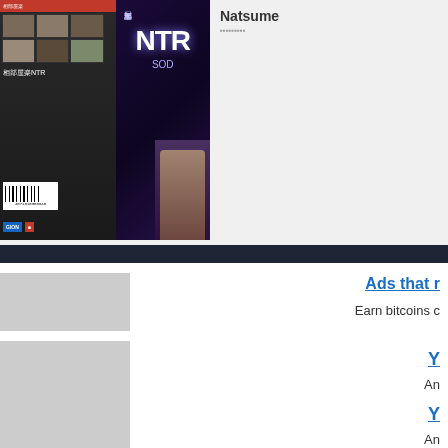[Figure (photo): DVD cover image showing Japanese adult video product with NTR theme, barcode visible, SOD label]
Natsume
Ads that r
Earn bitcoins c
Y
An
Y
An